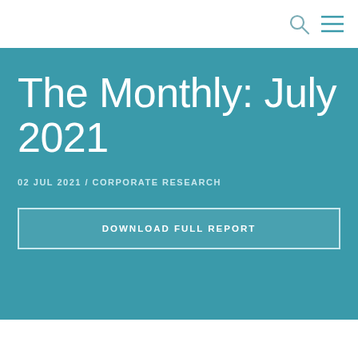The Monthly: July 2021
02 JUL 2021 / CORPORATE RESEARCH
DOWNLOAD FULL REPORT